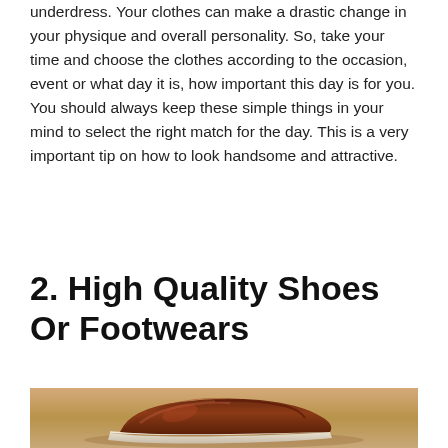underdress. Your clothes can make a drastic change in your physique and overall personality. So, take your time and choose the clothes according to the occasion, event or what day it is, how important this day is for you. You should always keep these simple things in your mind to select the right match for the day. This is a very important tip on how to look handsome and attractive.
2. High Quality Shoes Or Footwears
[Figure (photo): Close-up photo of a brown leather dress shoe on a warm-toned background]